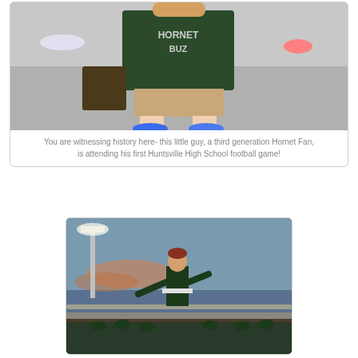[Figure (photo): A child wearing a Hornet Buzz jersey/shirt at a football game, viewed from a low angle showing the back of the shirt and the child's legs with blue sneakers]
You are witnessing history here- this little guy, a third generation Hornet Fan,
is attending his first Huntsville High School football game!
[Figure (photo): A band director or drum major in a dark green uniform standing elevated at a football stadium at dusk, with stadium lights and crowd visible in the background]